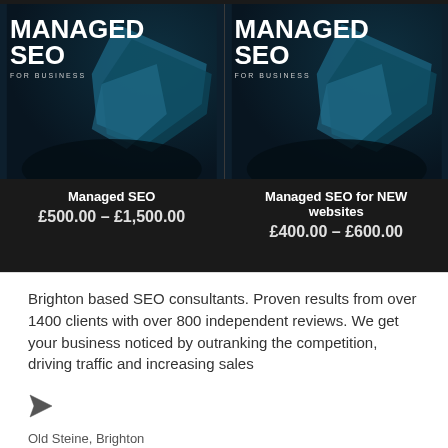[Figure (screenshot): Dark themed product card for 'Managed SEO' service showing stylized teal flag/shape graphic with price £500.00 – £1,500.00]
[Figure (screenshot): Dark themed product card for 'Managed SEO for NEW websites' service showing stylized teal flag/shape graphic with price £400.00 – £600.00]
Brighton based SEO consultants. Proven results from over 1400 clients with over 800 independent reviews. We get your business noticed by outranking the competition, driving traffic and increasing sales
Old Steine, Brighton